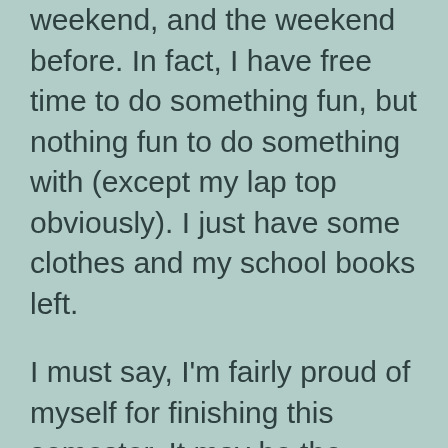weekend, and the weekend before. In fact, I have free time to do something fun, but nothing fun to do something with (except my lap top obviously). I just have some clothes and my school books left.
I must say, I'm fairly proud of myself for finishing this semester. It may be the longest, hardest, and most painful school term in my life. Since January, I have had two surgeries, two nerve blocks, and a three-week continuous epidural in addition to numerous drugs but still have managed to complete 22 credit hours of school work. Not only that, but I have managed